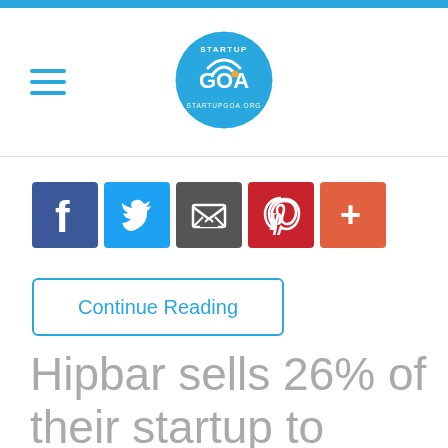Startup Goa
[Figure (logo): Startup Goa circular logo with wifi signal and location pin icon, blue background with white text reading STARTUP GOA]
[Figure (infographic): Social sharing icons row: Facebook (blue), Twitter (light blue), Email (dark gray), Pinterest (red), Plus/More (orange-red)]
Continue Reading
Hipbar sells 26% of their startup to United Spirits for a